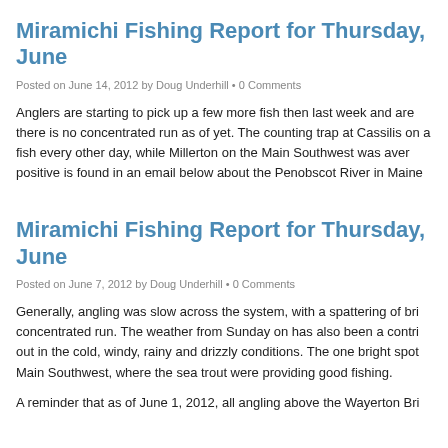Miramichi Fishing Report for Thursday, June
Posted on June 14, 2012 by Doug Underhill • 0 Comments
Anglers are starting to pick up a few more fish then last week and are there is no concentrated run as of yet. The counting trap at Cassilis on a fish every other day, while Millerton on the Main Southwest was aver positive is found in an email below about the Penobscot River in Maine
Miramichi Fishing Report for Thursday, June
Posted on June 7, 2012 by Doug Underhill • 0 Comments
Generally, angling was slow across the system, with a spattering of bri concentrated run. The weather from Sunday on has also been a contri out in the cold, windy, rainy and drizzly conditions. The one bright spot Main Southwest, where the sea trout were providing good fishing.
A reminder that as of June 1, 2012, all angling above the Wayerton Bri